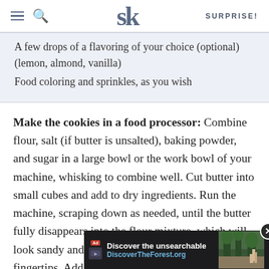SK (Smitten Kitchen) — SURPRISE!
A few drops of a flavoring of your choice (optional) (lemon, almond, vanilla)
Food coloring and sprinkles, as you wish
Make the cookies in a food processor: Combine flour, salt (if butter is unsalted), baking powder, and sugar in a large bowl or the work bowl of your machine, whisking to combine well. Cut butter into small cubes and add to dry ingredients. Run the machine, scraping down as needed, until the butter fully disappears into the flour mixture, which will look sandy and clump easily between your fingertips. Add the egg and vanilla and run the machine until it blends into a smooth dough, scraping… evenly.
[Figure (screenshot): Advertisement banner: Discover the unsearchable — DiscoverTheForest.org with forest photo and close button]